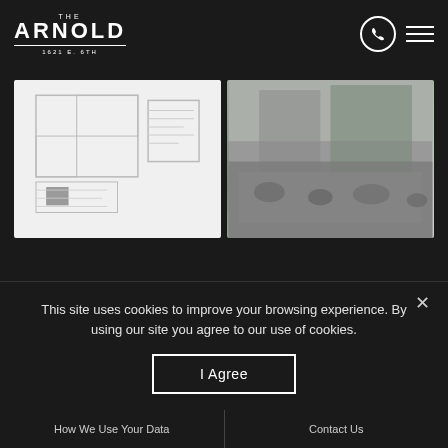[Figure (logo): The Arnold 1621 E. 6th logo in white on dark background]
[Figure (photo): Two images side by side: left is a blurry floor plan document, right is a blurry outdoor photo of a building/seating area]
This site uses cookies to improve your browsing experience. By using our site you agree to our use of cookies.
I Agree
How We Use Your Data    Contact Us